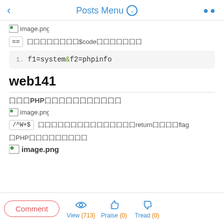Posts Menu
[Figure (screenshot): image.png placeholder icon]
== 囗囗囗囗囗囗囗$code囗囗囗囗囗囗囗
1. f1=system&f2=phpinfo
web141
囗囗囗PHP囗囗囗囗囗囗囗囗囗囗囗
[Figure (screenshot): image.png placeholder icon]
/^W+$ 囗囗囗囗囗囗囗囗囗囗囗囗囗囗囗return囗囗囗囗flag
囗PHP囗囗囗囗囗囗囗囗囗
[Figure (screenshot): image.png placeholder icon]
Comment | View (713) | Praise (0) | Tread (0)